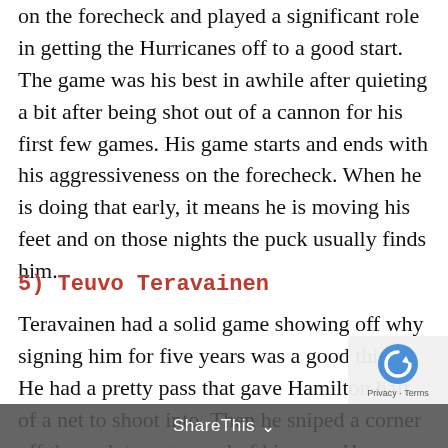on the forecheck and played a significant role in getting the Hurricanes off to a good start. The game was his best in awhile after quieting a bit after being shot out of a cannon for his first few games. His game starts and ends with his aggressiveness on the forecheck. When he is doing that early, it means he is moving his feet and on those nights the puck usually finds him.
5) Teuvo Teravainen
Teravainen had a solid game showing off why signing him for five years was a good thing. He had a pretty pass that gave Hamilton half of a net to shoot into. Then he sniped a corner off the rush to get a goal of his own. He finished with a big three-po